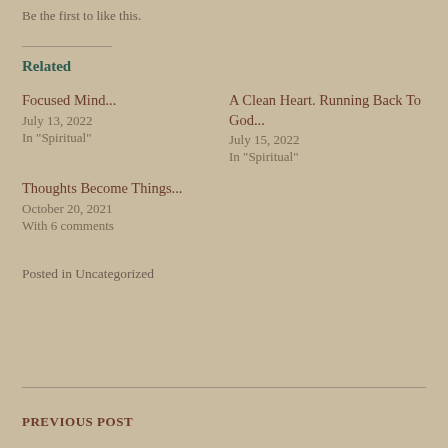Be the first to like this.
Related
Focused Mind...
July 13, 2022
In "Spiritual"
A Clean Heart. Running Back To God...
July 15, 2022
In "Spiritual"
Thoughts Become Things...
October 20, 2021
With 6 comments
Posted in Uncategorized
PREVIOUS POST